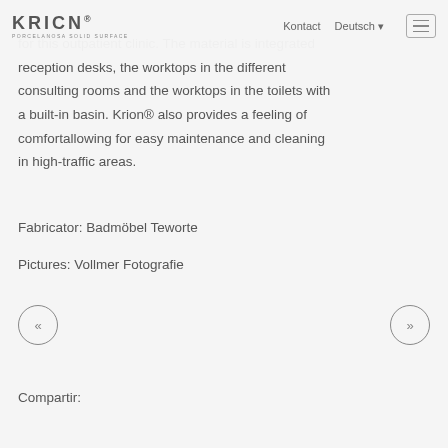KRION® PORCELANOSA SOLID SURFACE | Kontact | Deutsch | menu
for this outpatient clinic. The material is integrated reception desks, the worktops in the different consulting rooms and the worktops in the toilets with a built-in basin. Krion® also provides a feeling of comfortallowing for easy maintenance and cleaning in high-traffic areas.
Fabricator: Badmöbel Teworte
Pictures: Vollmer Fotografie
Compartir: